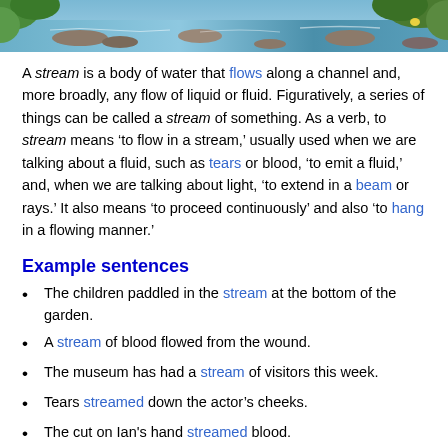[Figure (photo): Photograph of a stream with flowing water over rocks, surrounded by green vegetation]
A stream is a body of water that flows along a channel and, more broadly, any flow of liquid or fluid. Figuratively, a series of things can be called a stream of something. As a verb, to stream means ‘to flow in a stream,’ usually used when we are talking about a fluid, such as tears or blood, ‘to emit a fluid,’ and, when we are talking about light, ‘to extend in a beam or rays.’ It also means ‘to proceed continuously’ and also ‘to hang in a flowing manner.’
Example sentences
The children paddled in the stream at the bottom of the garden.
A stream of blood flowed from the wound.
The museum has had a stream of visitors this week.
Tears streamed down the actor’s cheeks.
The cut on Ian's hand streamed blood.